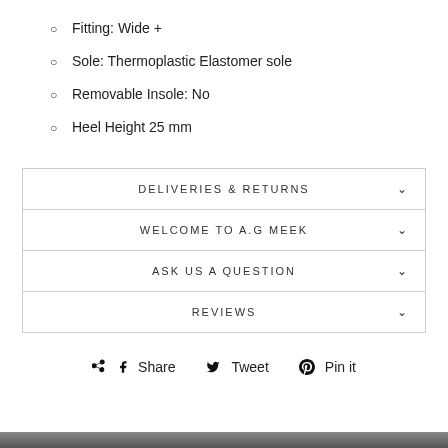Fitting: Wide +
Sole: Thermoplastic Elastomer sole
Removable Insole: No
Heel Height 25 mm
DELIVERIES & RETURNS
WELCOME TO A.G MEEK
ASK US A QUESTION
REVIEWS
Share   Tweet   Pin it